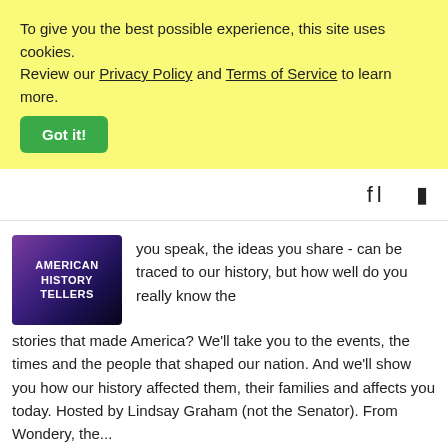To give you the best possible experience, this site uses cookies. Review our Privacy Policy and Terms of Service to learn more.
Got it!
[Figure (screenshot): American History Tellers podcast logo - purple/dark gradient background with white bold text]
you speak, the ideas you share - can be traced to our history, but how well do you really know the stories that made America? We'll take you to the events, the times and the people that shaped our nation. And we'll show you how our history affected them, their families and affects you today. Hosted by Lindsay Graham (not the Senator). From Wondery, the...
[Figure (logo): Serial podcast logo - black background with large red S and white bar chart icons]
Serial is a podcast from Serial Productions, a New York Times company, hosted by Sarah Koenig,